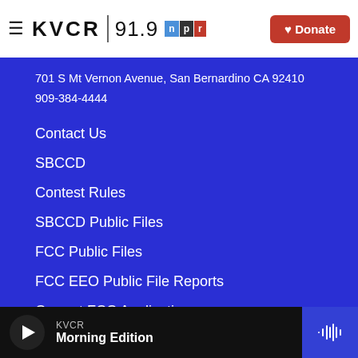KVCR 91.9 NPR | Donate
701 S Mt Vernon Avenue, San Bernardino CA 92410
909-384-4444
Contact Us
SBCCD
Contest Rules
SBCCD Public Files
FCC Public Files
FCC EEO Public File Reports
Current FCC Applications
KVCR
Morning Edition